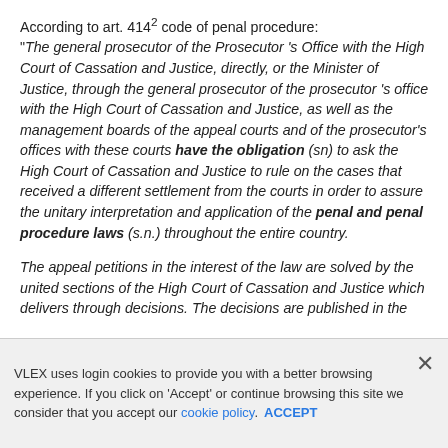According to art. 414² code of penal procedure: "The general prosecutor of the Prosecutor 's Office with the High Court of Cassation and Justice, directly, or the Minister of Justice, through the general prosecutor of the prosecutor 's office with the High Court of Cassation and Justice, as well as the management boards of the appeal courts and of the prosecutor's offices with these courts have the obligation (sn) to ask the High Court of Cassation and Justice to rule on the cases that received a different settlement from the courts in order to assure the unitary interpretation and application of the penal and penal procedure laws (s.n.) throughout the entire country.
The appeal petitions in the interest of the law are solved by the united sections of the High Court of Cassation and Justice which delivers through decisions. The decisions are published in the
VLEX uses login cookies to provide you with a better browsing experience. If you click on 'Accept' or continue browsing this site we consider that you accept our cookie policy. ACCEPT